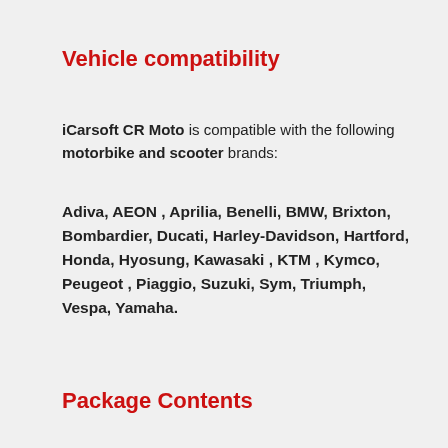Vehicle compatibility
iCarsoft CR Moto is compatible with the following motorbike and scooter brands:
Adiva, AEON , Aprilia, Benelli, BMW, Brixton, Bombardier, Ducati, Harley-Davidson, Hartford, Honda, Hyosung, Kawasaki , KTM , Kymco, Peugeot , Piaggio, Suzuki, Sym, Triumph, Vespa, Yamaha.
Package Contents